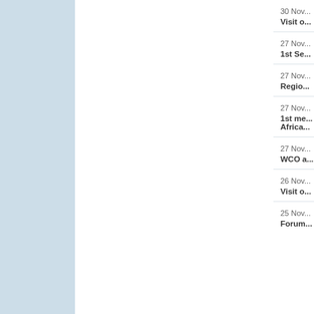30 Nov
Visit o...
27 Nov
1st Se...
27 Nov
Regio...
27 Nov
1st me...
Africa...
27 Nov
WCO a...
26 Nov
Visit o...
25 Nov
Forum...